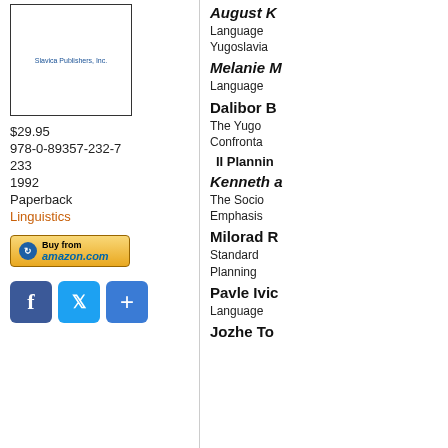[Figure (illustration): Book cover image with text 'Slavica Publishers, Inc.']
$29.95
978-0-89357-232-7
233
1992
Paperback
Linguistics
[Figure (other): Buy from Amazon.com button]
[Figure (other): Social media sharing icons: Facebook, Twitter, Plus]
August K
Language
Yugoslavia
Melanie M
Language
Dalibor B
The Yugo
Confrontat
II Plannin
Kenneth a
The Socio
Emphasis
Milorad R
Standard
Planning
Pavle Ivic
Language
Jozhe To